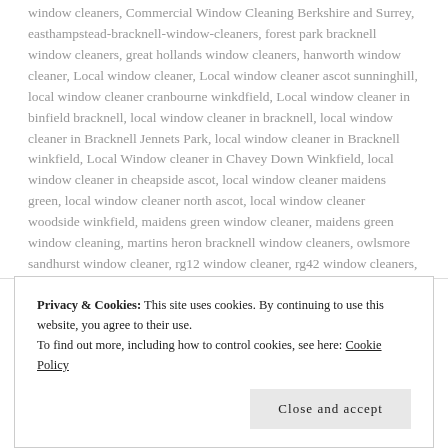window cleaners, Commercial Window Cleaning Berkshire and Surrey, easthampstead-bracknell-window-cleaners, forest park bracknell window cleaners, great hollands window cleaners, hanworth window cleaner, Local window cleaner, Local window cleaner ascot sunninghill, local window cleaner cranbourne winkdfield, Local window cleaner in binfield bracknell, local window cleaner in bracknell, local window cleaner in Bracknell Jennets Park, local window cleaner in Bracknell winkfield, Local Window cleaner in Chavey Down Winkfield, local window cleaner in cheapside ascot, local window cleaner maidens green, local window cleaner north ascot, local window cleaner woodside winkfield, maidens green window cleaner, maidens green window cleaning, martins heron bracknell window cleaners, owlsmore sandhurst window cleaner, rg12 window cleaner, rg42 window cleaners,
Privacy & Cookies: This site uses cookies. By continuing to use this website, you agree to their use. To find out more, including how to control cookies, see here: Cookie Policy